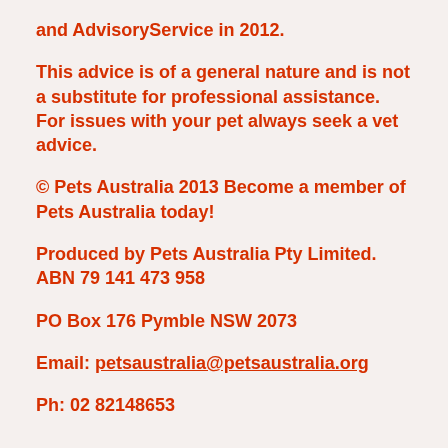and AdvisoryService in 2012.
This advice is of a general nature and is not a substitute for professional assistance. For issues with your pet always seek a vet advice.
© Pets Australia 2013 Become a member of Pets Australia today!
Produced by Pets Australia Pty Limited. ABN 79 141 473 958
PO Box 176 Pymble NSW 2073
Email: petsaustralia@petsaustralia.org
Ph: 02 82148653